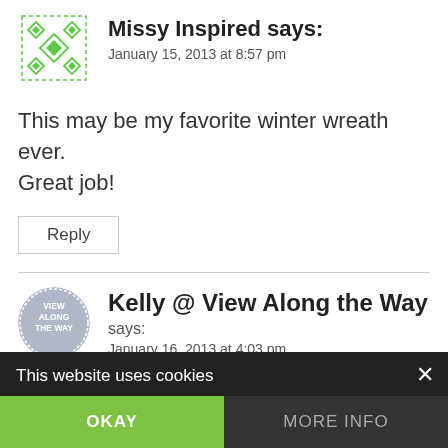[Figure (logo): Green diamond pattern avatar for Missy Inspired]
Missy Inspired says:
January 15, 2013 at 8:57 pm
This may be my favorite winter wreath ever. Great job!
Reply
[Figure (logo): Circular gray logo for Kelly @ View Along the Way]
Kelly @ View Along the Way says:
January 16, 2013 at 4:03 pm
So pretty! I always struggle with non-
This website uses cookies
OKAY
MORE INFO